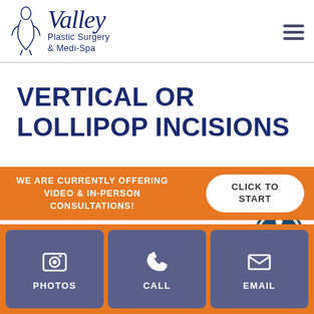Valley Plastic Surgery & Medi-Spa
VERTICAL OR LOLLIPOP INCISIONS
[Figure (other): Accessibility icon: person with circle border]
WE ARE CURRENTLY OFFERING VIDEO & IN-PERSON CONSULTATIONS!
CLICK TO START
PHOTOS
CALL
EMAIL